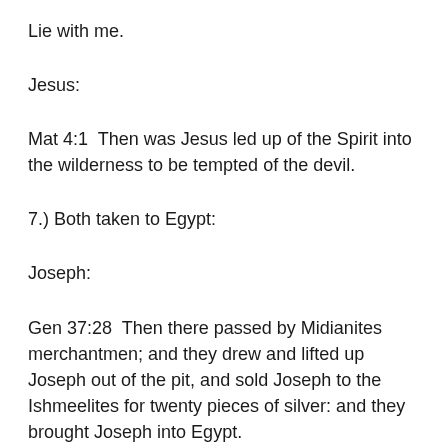Lie with me.
Jesus:
Mat 4:1  Then was Jesus led up of the Spirit into the wilderness to be tempted of the devil.
7.) Both taken to Egypt:
Joseph:
Gen 37:28  Then there passed by Midianites merchantmen; and they drew and lifted up Joseph out of the pit, and sold Joseph to the Ishmeelites for twenty pieces of silver: and they brought Joseph into Egypt.
Jesus: